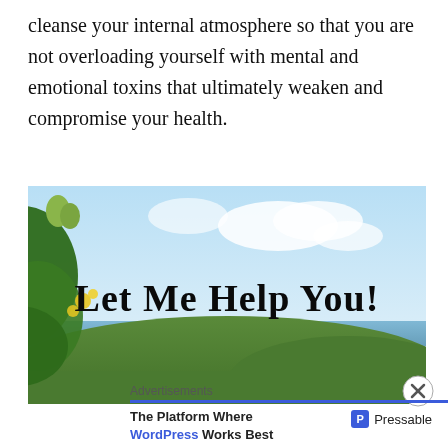cleanse your internal atmosphere so that you are not overloading yourself with mental and emotional toxins that ultimately weaken and compromise your health.
[Figure (photo): Outdoor nature scene with tropical plants, blue sky, ocean and green hills in background, with bold text overlay reading 'Let Me Help You!']
Advertisements
The Platform Where WordPress Works Best
Pressable